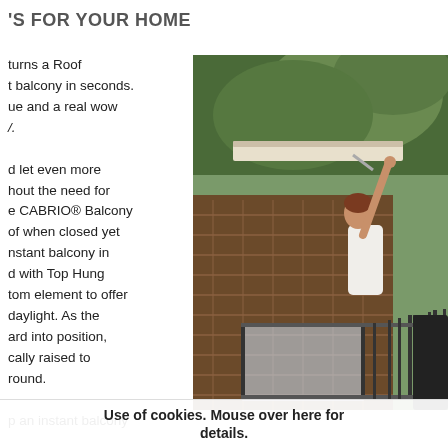'S FOR YOUR HOME
turns a Roof
t balcony in seconds.
ue and a real wow
/.

d let even more
hout the need for
e CABRIO® Balcony
of when closed yet
nstant balcony in
d with Top Hung
tom element to offer
daylight. As the
ard into position,
cally raised to
round.

p an instant balcony

with safety glass as
[Figure (photo): A woman opening a VELUX CABRIO balcony roof window on a tiled roof, with trees visible in the background. The opened window reveals a balcony with glass railings and black metal balustrades.]
Use of cookies. Mouse over here for
details.